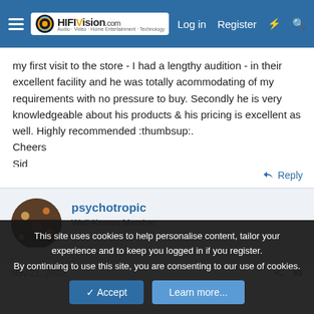[Figure (screenshot): HiFiVision.com navigation bar with hamburger menu, logo, Log in, Register, and search icons on blue background]
my first visit to the store - I had a lengthy audition - in their excellent facility and he was totally acommodating of my requirements with no pressure to buy. Secondly he is very knowledgeable about his products & his pricing is excellent as well. Highly recommended :thumbsup:.
Cheers
Sid
Reply
psychotropic
Well-Known Member
Nov 21, 2009
#9
This site uses cookies to help personalise content, tailor your experience and to keep you logged in if you register.
By continuing to use this site, you are consenting to our use of cookies.
Accept
Learn more...